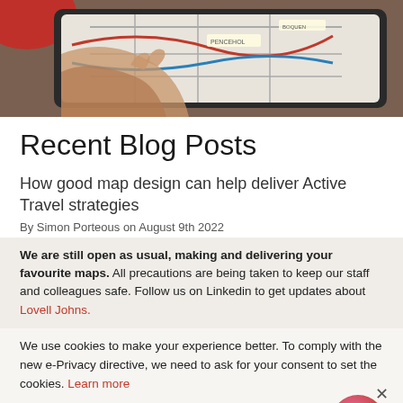[Figure (photo): A hand holding a tablet displaying a map, on a wooden table with a red object in the top-left corner.]
Recent Blog Posts
How good map design can help deliver Active Travel strategies
By Simon Porteous on August 9th 2022
We are still open as usual, making and delivering your favourite maps. All precautions are being taken to keep our staff and colleagues safe. Follow us on Linkedin to get updates about Lovell Johns.
We use cookies to make your experience better. To comply with the new e-Privacy directive, we need to ask for your consent to set the cookies. Learn more